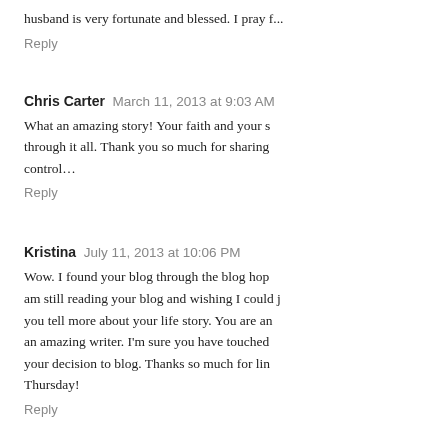husband is very fortunate and blessed. I pray f...
Reply
Chris Carter  March 11, 2013 at 9:03 AM
What an amazing story! Your faith and your s... through it all. Thank you so much for sharing... control...
Reply
Kristina  July 11, 2013 at 10:06 PM
Wow. I found your blog through the blog hop... am still reading your blog and wishing I could j... you tell more about your life story. You are an... an amazing writer. I'm sure you have touched... your decision to blog. Thanks so much for lin... Thursday!
Reply